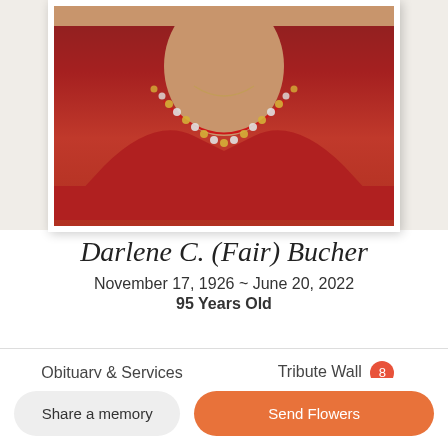[Figure (photo): Portrait photo of Darlene C. (Fair) Bucher, showing her wearing a red top with rhinestone/studded neckline and a necklace, cropped at upper chest area]
Darlene C. (Fair) Bucher
November 17, 1926 ~ June 20, 2022
95 Years Old
Obituary & Services
Tribute Wall 8
Darlene C. Bucher, 95, North Manchester, passed away on her late husband's birthday, June 20, 2022, at Timbercrest Healthcare Center in North Manchester, Indiana. She was
Share a memory
Send Flowers